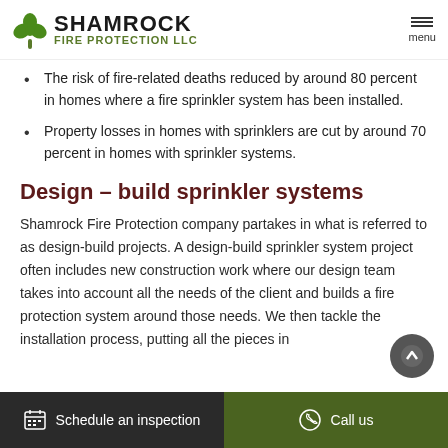SHAMROCK FIRE PROTECTION LLC — menu
The risk of fire-related deaths reduced by around 80 percent in homes where a fire sprinkler system has been installed.
Property losses in homes with sprinklers are cut by around 70 percent in homes with sprinkler systems.
Design – build sprinkler systems
Shamrock Fire Protection company partakes in what is referred to as design-build projects. A design-build sprinkler system project often includes new construction work where our design team takes into account all the needs of the client and builds a fire protection system around those needs. We then tackle the installation process, putting all the pieces in
Schedule an inspection    Call us